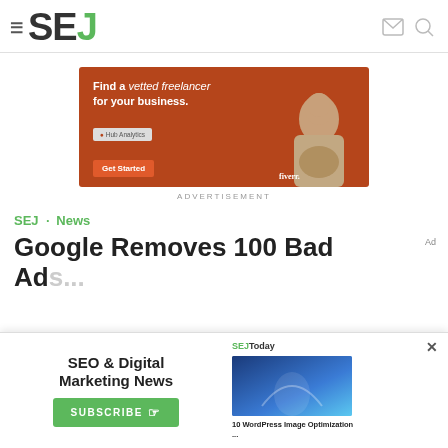SEJ
[Figure (screenshot): Fiverr advertisement banner: orange background, text 'Find a vetted freelancer for your business.' with a woman and 'Get Started' button and Fiverr logo]
ADVERTISEMENT
SEJ · News
Google Removes 100 Bad Ads...
[Figure (screenshot): SEO & Digital Marketing News subscribe popup with SEJToday panel showing a WordPress image optimization article]